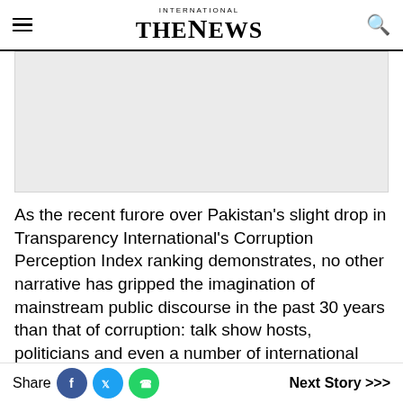INTERNATIONAL THE NEWS
[Figure (other): Advertisement banner placeholder (light grey rectangle)]
As the recent furore over Pakistan’s slight drop in Transparency International’s Corruption Perception Index ranking demonstrates, no other narrative has gripped the imagination of mainstream public discourse in the past 30 years than that of corruption: talk show hosts, politicians and even a number of international
Share  Next Story >>>